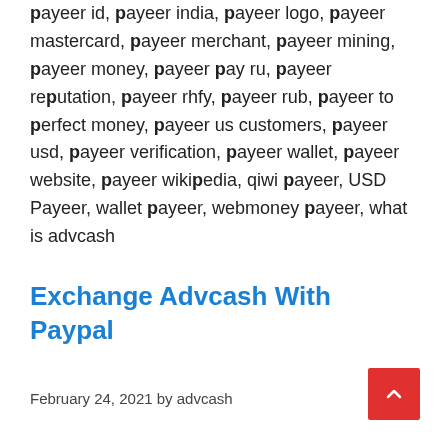payeer id, payeer india, payeer logo, payeer mastercard, payeer merchant, payeer mining, payeer money, payeer pay ru, payeer reputation, payeer rhfy, payeer rub, payeer to perfect money, payeer us customers, payeer usd, payeer verification, payeer wallet, payeer website, payeer wikipedia, qiwi payeer, USD Payeer, wallet payeer, webmoney payeer, what is advcash
Exchange Advcash With Paypal
February 24, 2021 by advcash